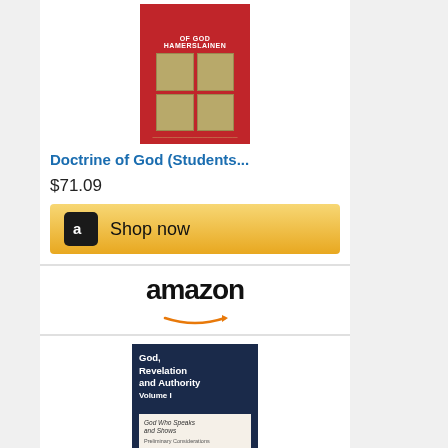[Figure (screenshot): Amazon product listing for 'Doctrine of God (Students...' showing book cover (red with grid pattern), price $71.09, and Shop now button]
[Figure (screenshot): Amazon product listing for 'God, Revelation and Authority...' showing Amazon logo header, book cover (dark blue), price $238.88 with Prime badge, Shop now button, and partial Amazon logo at bottom]